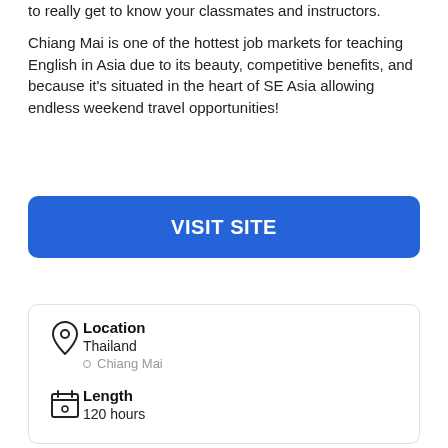to really get to know your classmates and instructors.
Chiang Mai is one of the hottest job markets for teaching English in Asia due to its beauty, competitive benefits, and because it's situated in the heart of SE Asia allowing endless weekend travel opportunities!
VISIT SITE
Location
Thailand
Chiang Mai
Length
120 hours